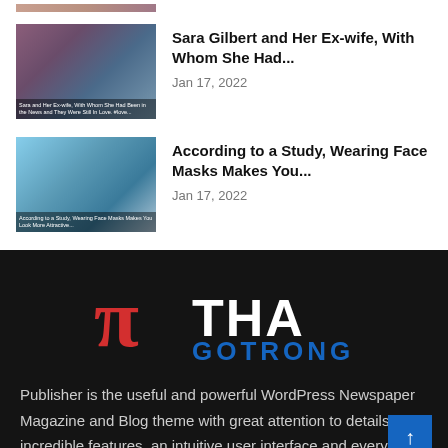[Figure (photo): Partial thumbnail image at top, cropped]
[Figure (photo): Sara Gilbert and her ex-wife thumbnail image]
Sara Gilbert and Her Ex-wife, With Whom She Had...
Jan 17, 2022
[Figure (photo): Face mask study article thumbnail image]
According to a Study, Wearing Face Masks Makes You...
Jan 17, 2022
[Figure (logo): Pi Tha Gotrong logo with red pi symbol, white THA text, blue GOTRONG text on dark background]
Publisher is the useful and powerful WordPress Newspaper Magazine and Blog theme with great attention to details, incredible features, an intuitive user interface and everythin